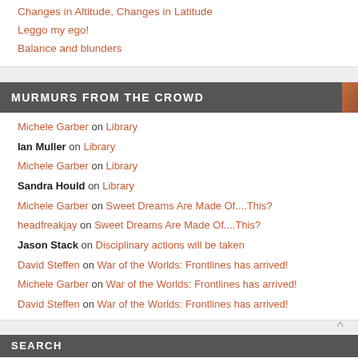Changes in Altitude, Changes in Latitude
Leggo my ego!
Balance and blunders
MURMURS FROM THE CROWD
Michele Garber on Library
Ian Muller on Library
Michele Garber on Library
Sandra Hould on Library
Michele Garber on Sweet Dreams Are Made Of....This?
headfreakjay on Sweet Dreams Are Made Of....This?
Jason Stack on Disciplinary actions will be taken
David Steffen on War of the Worlds: Frontlines has arrived!
Michele Garber on War of the Worlds: Frontlines has arrived!
David Steffen on War of the Worlds: Frontlines has arrived!
SEARCH